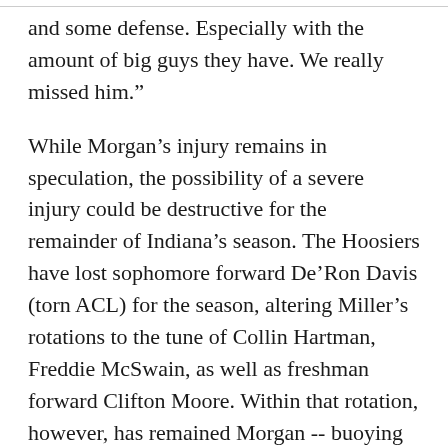and some defense. Especially with the amount of big guys they have. We really missed him."
While Morgan's injury remains in speculation, the possibility of a severe injury could be destructive for the remainder of Indiana's season. The Hoosiers have lost sophomore forward De'Ron Davis (torn ACL) for the season, altering Miller's rotations to the tune of Collin Hartman, Freddie McSwain, as well as freshman forward Clifton Moore. Within that rotation, however, has remained Morgan -- buoying the Hoosiers through an impressive 3-game winning streak with the steady hand of 15.6 points and 7.4 rebounds per game.
It's hard to say how Morgan's absence affected the Hoosiers Friday night against Michigan State -- a